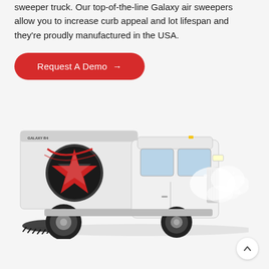sweeper truck. Our top-of-the-line Galaxy air sweepers allow you to increase curb appeal and lot lifespan and they're proudly manufactured in the USA.
[Figure (other): Red button labeled 'Request A Demo →']
[Figure (photo): Galaxy R4 air sweeper truck, white cab with red and black branding, shown in side profile with dust dispersing from the right side.]